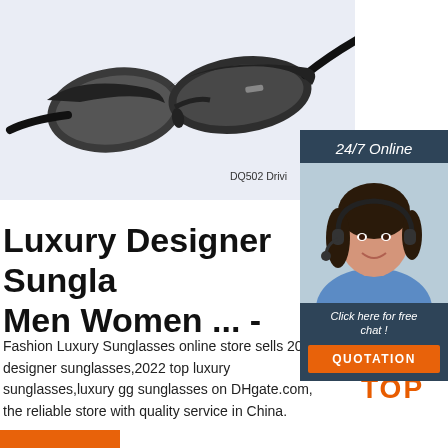[Figure (photo): Product photo of black semi-rimless driving sunglasses on light blue-grey background. Text partially visible: DQ502 Drivi...]
[Figure (photo): Chat widget overlay with dark blue background showing '24/7 Online', female customer service agent wearing headset and blue shirt, 'Click here for free chat!' text, and orange QUOTATION button]
Luxury Designer Sungla Men Women ... -
Fashion Luxury Sunglasses online store sells 2021 designer sunglasses,2022 top luxury sunglasses,luxury gg sunglasses on DHgate.com, the reliable store with quality service in China.
[Figure (logo): TOP badge in orange with decorative dots]
[Figure (other): Orange bar at bottom left]